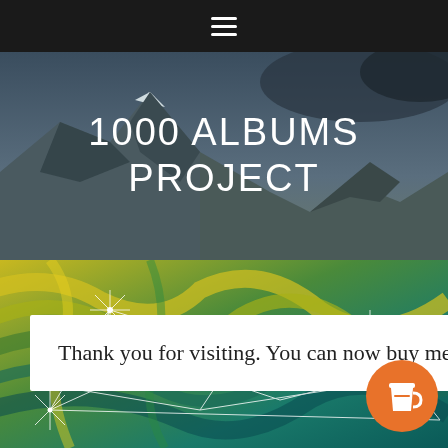☰ (hamburger menu)
1000 ALBUMS PROJECT
[Figure (illustration): Abstract colorful painting with yellow, green, teal swirling strokes and white geometric star/constellation overlay lines]
Thank you for visiting. You can now buy me a coffee!
[Figure (illustration): Orange circular coffee cup button/icon in bottom right corner]